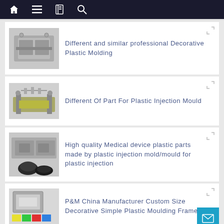Navigation bar with home, menu, book, and search icons
[Figure (photo): Plastic injection mold - decorative plastic molding]
Different and similar professional Decorative Plastic Molding
[Figure (photo): Plastic injection mold parts]
Different Of Part For Plastic Injection Mould
[Figure (photo): Medical device plastic parts and mold]
High quality Medical device plastic parts made by plastic injection mold/mould for plastic injection
[Figure (photo): Custom size decorative plastic moulding frames]
P&M China Manufacturer Custom Size Decorative Simple Plastic Moulding Frames